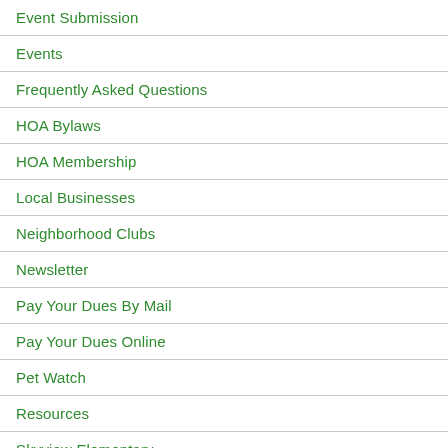Event Submission
Events
Frequently Asked Questions
HOA Bylaws
HOA Membership
Local Businesses
Neighborhood Clubs
Newsletter
Pay Your Dues By Mail
Pay Your Dues Online
Pet Watch
Resources
Skyview Elementary